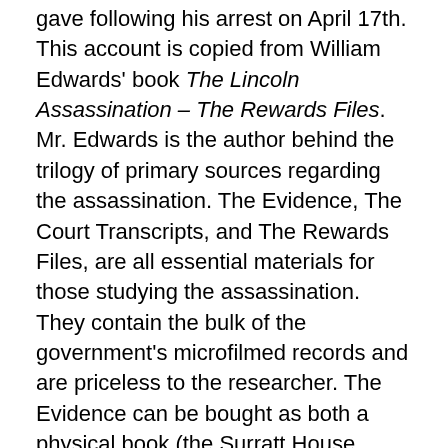The following is Samuel Arnold's full confession that he gave following his arrest on April 17th.  This account is copied from William Edwards' book The Lincoln Assassination – The Rewards Files.  Mr. Edwards is the author behind the trilogy of primary sources regarding the assassination.  The Evidence, The Court Transcripts, and The Rewards Files, are all essential materials for those studying the assassination.  They contain the bulk of the government's microfilmed records and are priceless to the researcher.  The Evidence can be bought as both a physical book (the Surratt House Museum offers the best value on this) and as a non-searchable ebook.  The Trial Transcript can be purchased as a searchable ebook.  The Rewards Files were previously released on a CD-ROM  (still available through the Surratt House Museum) and will shortly be released as an ebook through Google Books. EDIT: The book is now available for purchase here